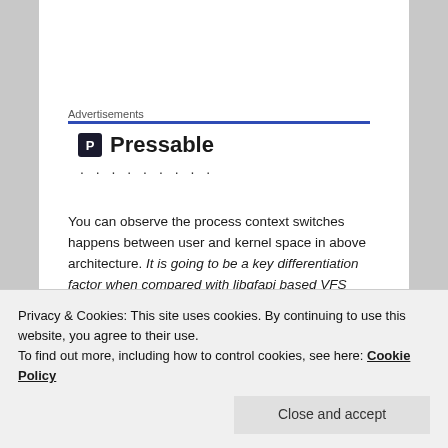Advertisements
[Figure (logo): Pressable logo with icon and name, followed by a row of dots]
You can observe the process context switches happens between user and kernel space in above architecture. It is going to be a key differentiation factor when compared with libgfapi based VFS plugin.
For Samba VFS plugin implementation, see the below
Privacy & Cookies: This site uses cookies. By continuing to use this website, you agree to their use.
To find out more, including how to control cookies, see here: Cookie Policy